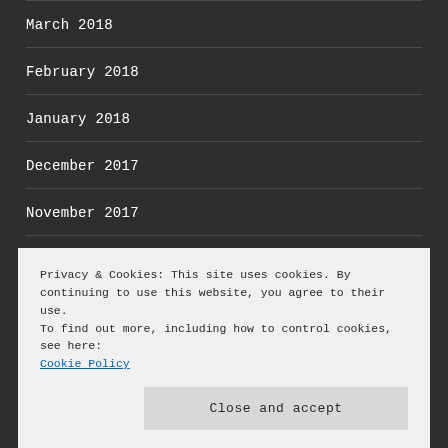March 2018
February 2018
January 2018
December 2017
November 2017
October 2017
Privacy & Cookies: This site uses cookies. By continuing to use this website, you agree to their use.
To find out more, including how to control cookies, see here:
Cookie Policy
Close and accept